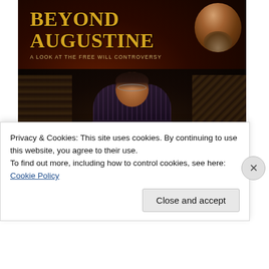[Figure (photo): Promotional banner image for 'Beyond Augustine: A Look at the Free Will Controversy' — dark red/brown background with gold title text, portrait of a bearded historical figure (Saint Augustine) in upper right. Below the banner is a photo of a young man with glasses reading a book in a dimly lit setting with wooden elements in the background.]
Privacy & Cookies: This site uses cookies. By continuing to use this website, you agree to their use.
To find out more, including how to control cookies, see here: Cookie Policy
Close and accept